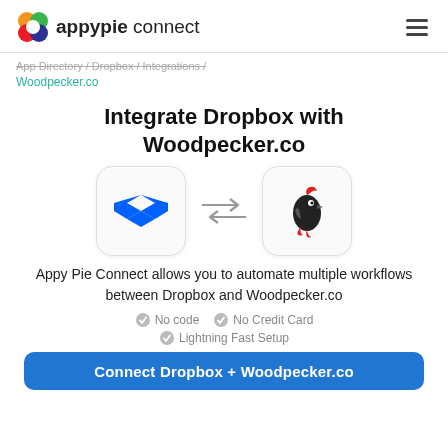appypie connect
App Directory / Dropbox / Integrations / Woodpecker.co
Integrate Dropbox with Woodpecker.co
[Figure (logo): Dropbox logo (blue diamond shape) and Woodpecker.co logo (red/black bird) with bidirectional arrows between them]
Appy Pie Connect allows you to automate multiple workflows between Dropbox and Woodpecker.co
No code
No Credit Card
Lightning Fast Setup
Connect Dropbox + Woodpecker.co